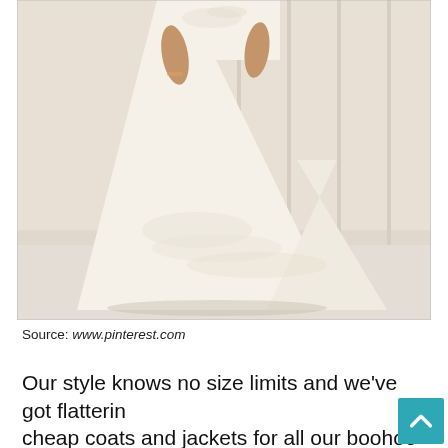[Figure (photo): A woman wearing a white/ivory A-line wedding dress with lace embroidery and a long train, photographed from the neck down in a bright interior setting.]
Source: www.pinterest.com
Our style knows no size limits and we've got flattering cheap coats and jackets for all our boohoo babes. It stocks lipsy wedding dresses starting from £135, as well